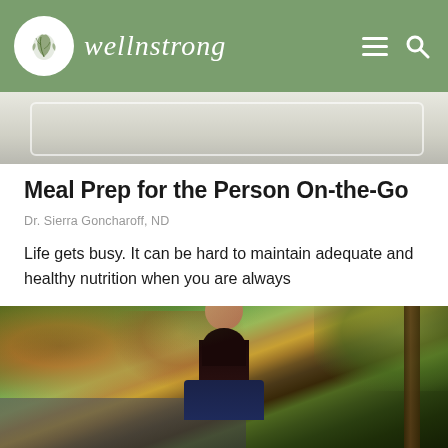wellnstrong
[Figure (photo): Partial view of a food/meal preparation photo with light background, cropped at top]
Meal Prep for the Person On-the-Go
Dr. Sierra Goncharoff, ND
Life gets busy. It can be hard to maintain adequate and healthy nutrition when you are always
[Figure (photo): Portrait photo of a young woman with long dark hair, smiling, wearing a navy blazer, standing outdoors in front of autumn foliage trees]